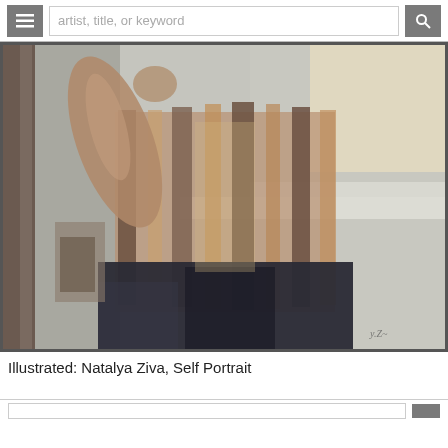artist, title, or keyword
[Figure (illustration): Oil painting of a figure from behind/side, wearing a striped shirt and dark pants, with arms raised. Loosely painted impressionistic style with muted brown, tan, grey and dark navy tones. Background is grey-white with architectural elements. Signature visible at lower right.]
Illustrated: Natalya Ziva, Self Portrait